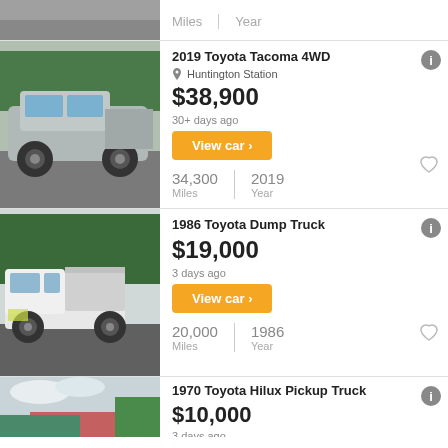Miles | Year
2019 Toyota Tacoma 4WD
Huntington Station
$38,900
30+ days ago
View car ›
34,300 Miles | 2019 Year
1986 Toyota Dump Truck
$19,000
3 days ago
View car ›
20,000 Miles | 1986 Year
1970 Toyota Hilux Pickup Truck
$10,000
3 days ago